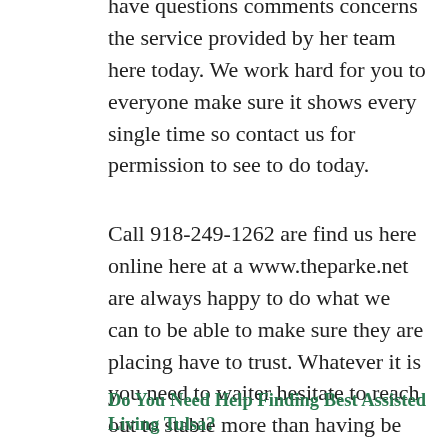have questions comments concerns the service provided by her team here today. We work hard for you to everyone make sure it shows every single time so contact us for permission to see to do today.
Call 918-249-1262 are find us here online here at a www.theparke.net are always happy to do what we can to be able to make sure they are placing have to trust. Whatever it is you need to waiter hesitate to reach out to stable more than having be able to systema RC1 make sure to do right by you. Something discount if you have questions.
Do You Need Help Finding Best Assisted Living Tulsa?
The Best Assisted Living Tulsa called The Parke Assisted Living wants you to know that